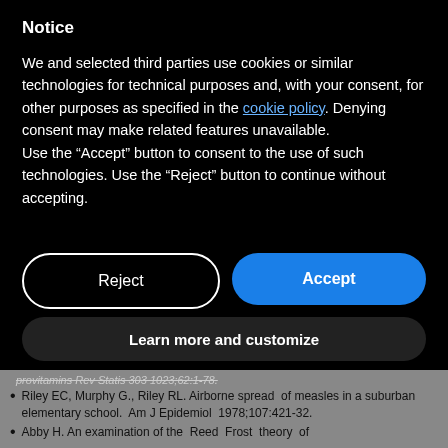Notice
We and selected third parties use cookies or similar technologies for technical purposes and, with your consent, for other purposes as specified in the cookie policy. Denying consent may make related features unavailable.
Use the “Accept” button to consent to the use of such technologies. Use the “Reject” button to continue without accepting.
Reject
Accept
Learn more and customize
provitamins Rev Statis 303 1023;62:1-78.
Riley EC, Murphy G., Riley RL. Airborne spread of measles in a suburban elementary school. Am J Epidemiol 1978;107:421-32.
Abby H. An examination of the Reed Frost theory of